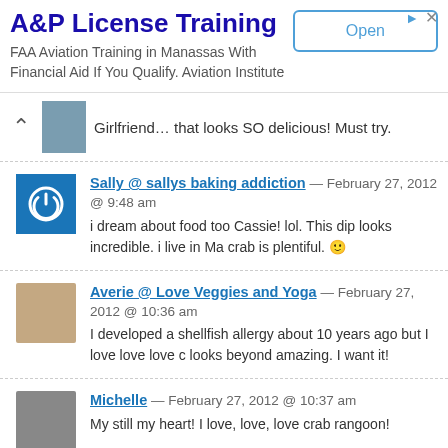[Figure (screenshot): Advertisement banner for A&P License Training with Open button]
Girlfriend… that looks SO delicious! Must try.
Sally @ sallys baking addiction — February 27, 2012 @ 9:48 am
i dream about food too Cassie! lol. This dip looks incredible. i live in Ma crab is plentiful. 🙂
Averie @ Love Veggies and Yoga — February 27, 2012 @ 10:36 am
I developed a shellfish allergy about 10 years ago but I love love love c looks beyond amazing. I want it!
Michelle — February 27, 2012 @ 10:37 am
My still my heart! I love, love, love crab rangoon!
Helene Dsouza I Masala Herb — February 27, 2012 @ 12:10 pm
Looks great and I bet it tastes fabulous! I am wondering what the dip wi chips are a nice idea too, own home made different style chips, I wil